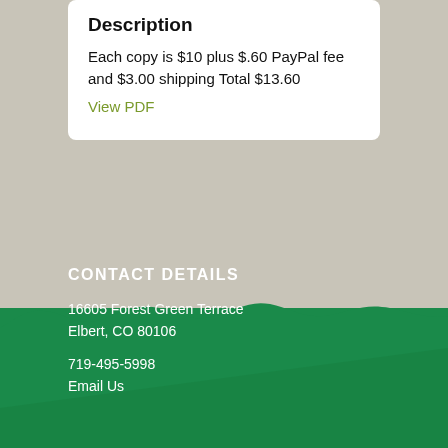Description
Each copy is $10 plus $.60 PayPal fee and $3.00 shipping Total $13.60
View PDF
[Figure (illustration): Rolling green hills landscape illustration forming the bottom half of the page, with a beige/grey background above and dark green hills below]
CONTACT DETAILS
16605 Forest Green Terrace
Elbert, CO 80106
719-495-5998
Email Us